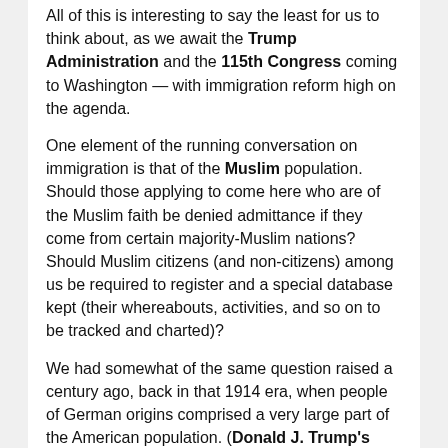All of this is interesting to say the least for us to think about, as we await the Trump Administration and the 115th Congress coming to Washington — with immigration reform high on the agenda.
One element of the running conversation on immigration is that of the Muslim population. Should those applying to come here who are of the Muslim faith be denied admittance if they come from certain majority-Muslim nations? Should Muslim citizens (and non-citizens) among us be required to register and a special database kept (their whereabouts, activities, and so on to be tracked and charted)?
We had somewhat of the same question raised a century ago, back in that 1914 era, when people of German origins comprised a very large part of the American population. (Donald J. Trump's grandfather among them). If America went to war with the Kaiser's Germany, the discussion of the day was, would the German-Americans / or / American-Germans be trusted in the U.S. military? Would they fight their cousins on European